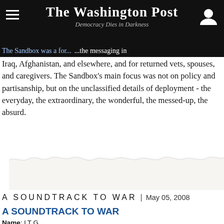The Washington Post
Democracy Dies in Darkness
The Sandbox was a forum for frontline dispatches from the wars in Iraq, Afghanistan, and elsewhere, and for returned vets, spouses, and caregivers. The Sandbox's main focus was not on policy and partisanship, but on the unclassified details of deployment - the everyday, the extraordinary, the wonderful, the messed-up, the absurd.
[Figure (illustration): Torn paper strip decorative divider element]
A SOUNDTRACK TO WAR | May 05, 2008
A SOUNDTRACK TO WAR
Name: LT G
Posting date: 5/5/08
Stationed in: Iraq
Hometown: Reno, Nevada
Milblog: Kaboom: A Soldier's War Journal